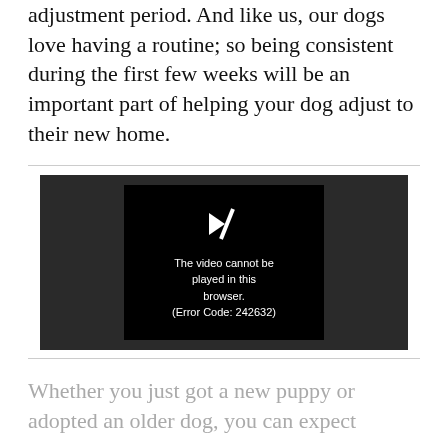adjustment period. And like us, our dogs love having a routine; so being consistent during the first few weeks will be an important part of helping your dog adjust to their new home.
[Figure (screenshot): Video player showing error message: 'The video cannot be played in this browser. (Error Code: 242632)']
Whether you just got a new puppy or adopted an older dog, you can expect